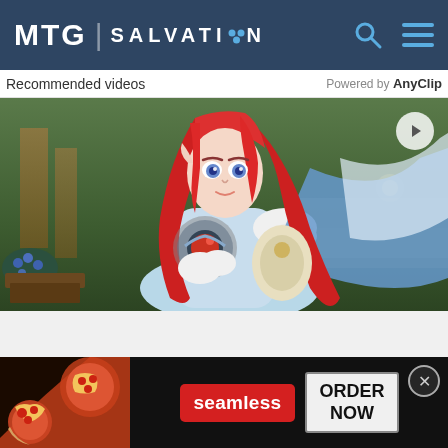MTG | SALVATION
Recommended videos — Powered by AnyClip
[Figure (screenshot): Anime-style game character with long red hair, pointed ears, blue eyes, white armor and blue cape, holding a round item; background is a fantasy outdoor setting with wooden structures and blue flowers.]
[Figure (photo): Advertisement banner: pizza image on the left, seamless red button in the center, ORDER NOW button on the right, with X close button.]